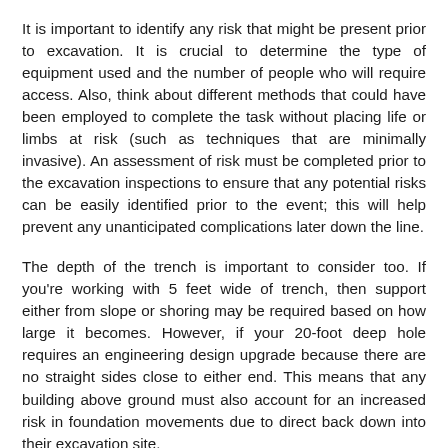It is important to identify any risk that might be present prior to excavation. It is crucial to determine the type of equipment used and the number of people who will require access. Also, think about different methods that could have been employed to complete the task without placing life or limbs at risk (such as techniques that are minimally invasive). An assessment of risk must be completed prior to the excavation inspections to ensure that any potential risks can be easily identified prior to the event; this will help prevent any unanticipated complications later down the line.
The depth of the trench is important to consider too. If you're working with 5 feet wide of trench, then support either from slope or shoring may be required based on how large it becomes. However, if your 20-foot deep hole requires an engineering design upgrade because there are no straight sides close to either end. This means that any building above ground must also account for an increased risk in foundation movements due to direct back down into their excavation site.